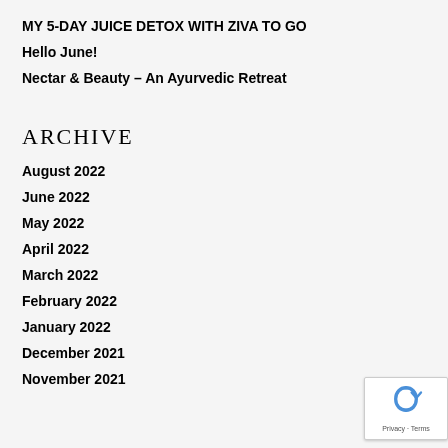MY 5-DAY JUICE DETOX WITH ZIVA TO GO
Hello June!
Nectar & Beauty – An Ayurvedic Retreat
ARCHIVE
August 2022
June 2022
May 2022
April 2022
March 2022
February 2022
January 2022
December 2021
November 2021